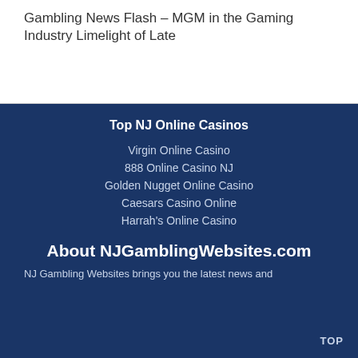Gambling News Flash – MGM in the Gaming Industry Limelight of Late
Top NJ Online Casinos
Virgin Online Casino
888 Online Casino NJ
Golden Nugget Online Casino
Caesars Casino Online
Harrah's Online Casino
About NJGamblingWebsites.com
NJ Gambling Websites brings you the latest news and
TOP